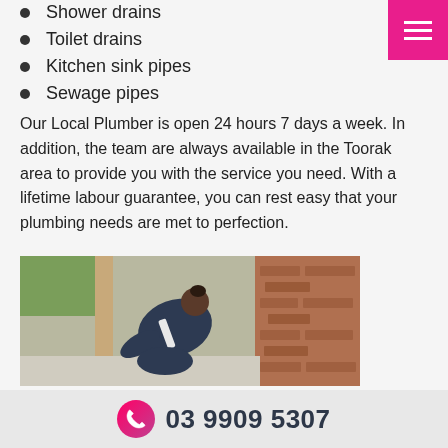Shower drains
Toilet drains
Kitchen sink pipes
Sewage pipes
Our Local Plumber is open 24 hours 7 days a week. In addition, the team are always available in the Toorak area to provide you with the service you need. With a lifetime labour guarantee, you can rest easy that your plumbing needs are met to perfection.
[Figure (photo): A plumber in a dark uniform crouching down working near a building exterior wall with brick and a door frame, seen from behind]
03 9909 5307